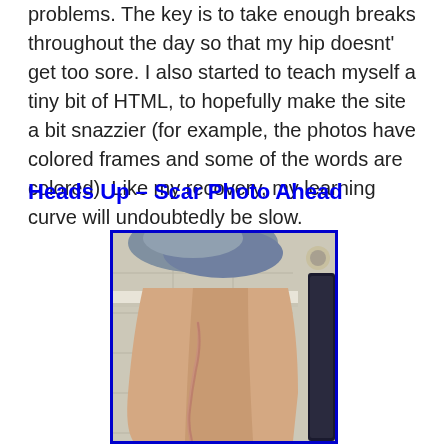problems. The key is to take enough breaks throughout the day so that my hip doesnt' get too sore. I also started to teach myself a tiny bit of HTML, to hopefully make the site a bit snazzier (for example, the photos have colored frames and some of the words are colored). Like my recovery, my learning curve will undoubtedly be slow.
Heads Up – Scar Photo Ahead
[Figure (photo): A close-up photograph of a leg showing a surgical scar. The leg is positioned sideways against a tiled bathroom wall background. The scar runs along the outer side of the hip/thigh area. The photo has a blue border/frame.]